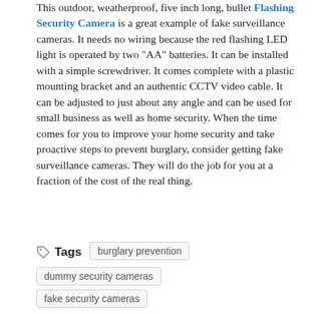This outdoor, weatherproof, five inch long, bullet Flashing Security Camera is a great example of fake surveillance cameras. It needs no wiring because the red flashing LED light is operated by two "AA" batteries. It can be installed with a simple screwdriver. It comes complete with a plastic mounting bracket and an authentic CCTV video cable. It can be adjusted to just about any angle and can be used for small business as well as home security. When the time comes for you to improve your home security and take proactive steps to prevent burglary, consider getting fake surveillance cameras. They will do the job for you at a fraction of the cost of the real thing.
Tags  burglary prevention  dummy security cameras  fake security cameras  fake surveillance cameras  home security